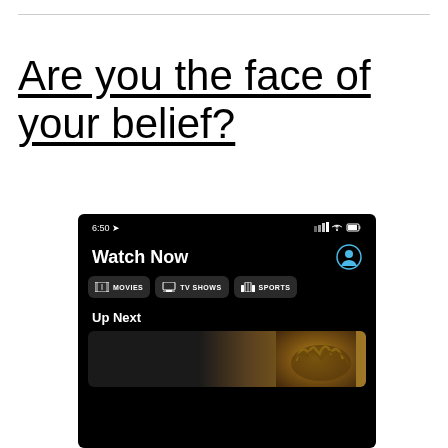Are you the face of your belief?
[Figure (screenshot): iPhone screenshot showing the Apple TV app 'Watch Now' screen at 6:50, with categories Movies, TV Shows, Sports and an 'Up Next' section with a thumbnail showing what appears to be a crown of thorns image]